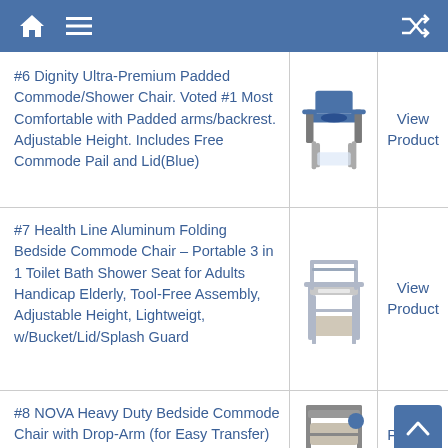Navigation bar with home, menu, and shuffle icons
#6 Dignity Ultra-Premium Padded Commode/Shower Chair. Voted #1 Most Comfortable with Padded arms/backrest. Adjustable Height. Includes Free Commode Pail and Lid(Blue)
[Figure (photo): Blue padded commode/shower chair with armrests]
View Product
#7 Health Line Aluminum Folding Bedside Commode Chair – Portable 3 in 1 Toilet Bath Shower Seat for Adults Handicap Elderly, Tool-Free Assembly, Adjustable Height, Lightweigt, w/Bucket/Lid/Splash Guard
[Figure (photo): Aluminum folding bedside commode chair]
View Product
#8 NOVA Heavy Duty Bedside Commode Chair with Drop-Arm (for Easy Transfer)
[Figure (photo): NOVA heavy duty bedside commode chair with drop-arm]
View Product